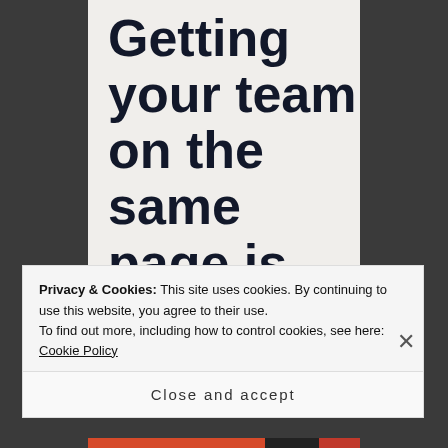Getting your team on the same page is easy. And free.
Privacy & Cookies: This site uses cookies. By continuing to use this website, you agree to their use.
To find out more, including how to control cookies, see here: Cookie Policy
Close and accept